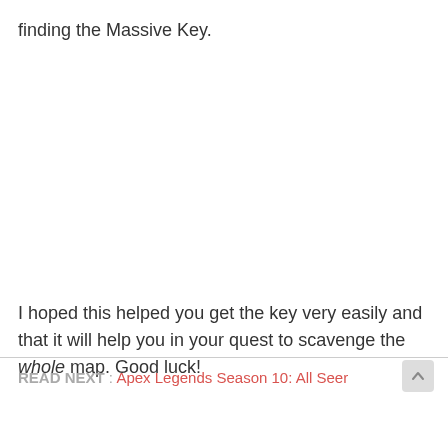finding the Massive Key.
I hoped this helped you get the key very easily and that it will help you in your quest to scavenge the whole map. Good luck!
READ NEXT : Apex Legends Season 10: All Seer